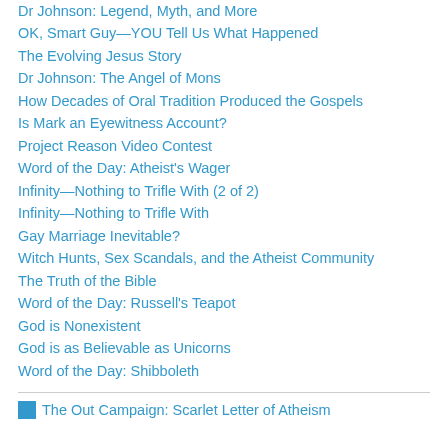Dr Johnson: Legend, Myth, and More
OK, Smart Guy—YOU Tell Us What Happened
The Evolving Jesus Story
Dr Johnson: The Angel of Mons
How Decades of Oral Tradition Produced the Gospels
Is Mark an Eyewitness Account?
Project Reason Video Contest
Word of the Day: Atheist's Wager
Infinity—Nothing to Trifle With (2 of 2)
Infinity—Nothing to Trifle With
Gay Marriage Inevitable?
Witch Hunts, Sex Scandals, and the Atheist Community
The Truth of the Bible
Word of the Day: Russell's Teapot
God is Nonexistent
God is as Believable as Unicorns
Word of the Day: Shibboleth
[Figure (other): The Out Campaign: Scarlet Letter of Atheism — icon with text link]